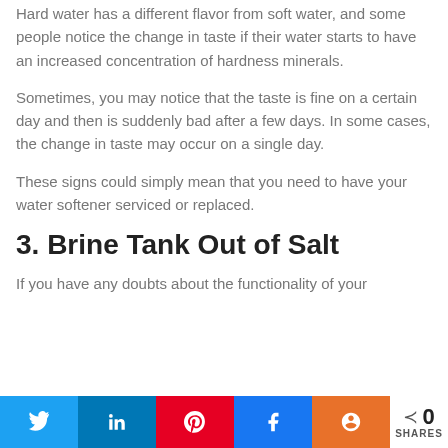Hard water has a different flavor from soft water, and some people notice the change in taste if their water starts to have an increased concentration of hardness minerals.
Sometimes, you may notice that the taste is fine on a certain day and then is suddenly bad after a few days. In some cases, the change in taste may occur on a single day.
These signs could simply mean that you need to have your water softener serviced or replaced.
3. Brine Tank Out of Salt
If you have any doubts about the functionality of your unit, check the brine tank first. It should be out of salt...
Share buttons: Twitter, LinkedIn, Pinterest, Facebook, Mix | 0 SHARES